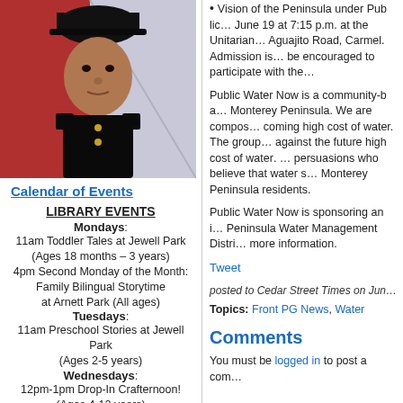[Figure (photo): Portrait photo of a young man in a dark military dress uniform with a black hat, positioned in front of a red/flag background.]
Calendar of Events
LIBRARY EVENTS
Mondays: 11am Toddler Tales at Jewell Park (Ages 18 months – 3 years)
4pm Second Monday of the Month: Family Bilingual Storytime at Arnett Park (All ages)
Tuesdays: 11am Preschool Stories at Jewell Park (Ages 2-5 years)
Wednesdays: 12pm-1pm Drop-In Crafternoon! (Ages 4-12 years)
11am Second Wednesday of the Month at Jewell Park Music with MaryLee
Thursdays:
• Vision of the Peninsula under Public... June 19 at 7:15 p.m. at the Unitarian... Aguajito Road, Carmel. Admission is... be encouraged to participate with the...
Public Water Now is a community-ba... Monterey Peninsula. We are compos... coming high cost of water. The group... against the future high cost of water.... persuasions who believe that water s... Monterey Peninsula residents.
Public Water Now is sponsoring an i... Peninsula Water Management Distri... more information.
Tweet
posted to Cedar Street Times on Jun...
Topics: Front PG News, Water
Comments
You must be logged in to post a com...